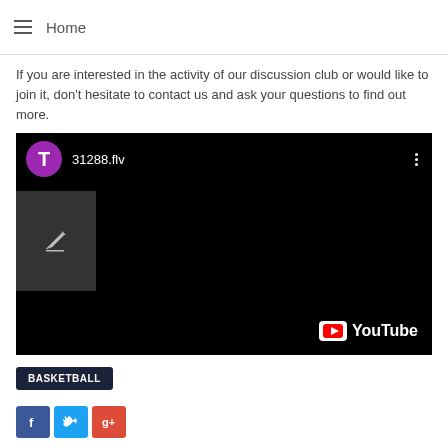≡  Home
If you are interested in the activity of our discussion club or would like to join it, don't hesitate to contact us and ask your questions to find out more.
[Figure (screenshot): Embedded YouTube video player showing a black screen with title '31288.flv', a purple avatar with letter T, a three-dot menu, an edit overlay icon on the left, and the YouTube logo in the bottom right corner.]
BASKETBALL
[Figure (other): Social sharing buttons: Facebook (blue), Twitter (blue), Google+ (red)]